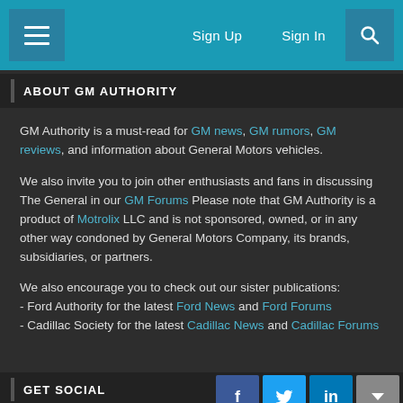≡  Sign Up  Sign In  🔍
ABOUT GM AUTHORITY
GM Authority is a must-read for GM news, GM rumors, GM reviews, and information about General Motors vehicles.
We also invite you to join other enthusiasts and fans in discussing The General in our GM Forums Please note that GM Authority is a product of Motrolix LLC and is not sponsored, owned, or in any other way condoned by General Motors Company, its brands, subsidiaries, or partners.
We also encourage you to check out our sister publications:
- Ford Authority for the latest Ford News and Ford Forums
- Cadillac Society for the latest Cadillac News and Cadillac Forums
GET SOCIAL